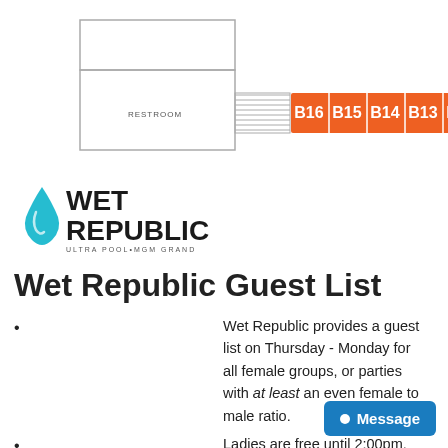[Figure (schematic): Floor plan diagram showing booth sections B11 through B16 highlighted in orange, with a restroom label and architectural outline of surrounding space]
[Figure (logo): Wet Republic Ultra Pool MGM Grand logo with a teal water drop icon and stylized text]
Wet Republic Guest List
Wet Republic provides a guest list on Thursday - Monday for all female groups, or parties with at least an even female to male ratio.
Ladies are free until 2:00pm.
Guys are reduced admission until 2pm (admission price varies by date and performer).
Guest list does not give line priority; there is a